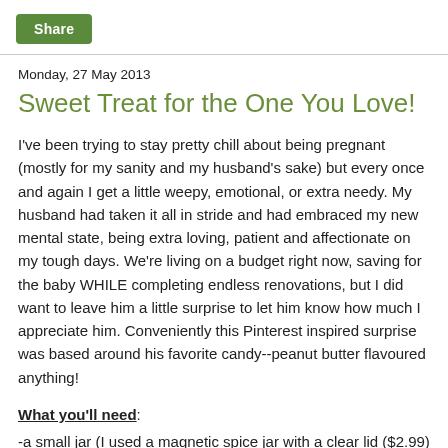Share
Monday, 27 May 2013
Sweet Treat for the One You Love!
I've been trying to stay pretty chill about being pregnant (mostly for my sanity and my husband's sake) but every once and again I get a little weepy, emotional, or extra needy. My husband had taken it all in stride and had embraced my new mental state, being extra loving, patient and affectionate on my tough days. We're living on a budget right now, saving for the baby WHILE completing endless renovations, but I did want to leave him a little surprise to let him know how much I appreciate him. Conveniently this Pinterest inspired surprise was based around his favorite candy--peanut butter flavoured anything!
What you'll need:
-a small jar (I used a magnetic spice jar with a clear lid ($2.99) but you could easily use a small mason jar or